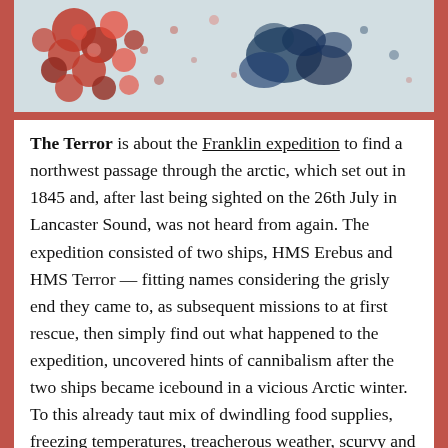[Figure (photo): Partial photograph showing what appears to be a close-up of red and dark blue/navy round shapes (possibly berries or lichen) against a pale grey background, cropped at the top.]
The Terror is about the Franklin expedition to find a northwest passage through the arctic, which set out in 1845 and, after last being sighted on the 26th July in Lancaster Sound, was not heard from again. The expedition consisted of two ships, HMS Erebus and HMS Terror — fitting names considering the grisly end they came to, as subsequent missions to at first rescue, then simply find out what happened to the expedition, uncovered hints of cannibalism after the two ships became icebound in a vicious Arctic winter. To this already taut mix of dwindling food supplies, freezing temperatures, treacherous weather, scurvy and other diseases, not to mention the very real threat of mutiny as the situation becomes increasingly desperate, Simmons adds a supernatural element from Inuit mythology — a demonic creature out there in the frozen wastes, preying on the explorers more out of a need for vengeance than food. At times, this supernatural element can seem superfluous,